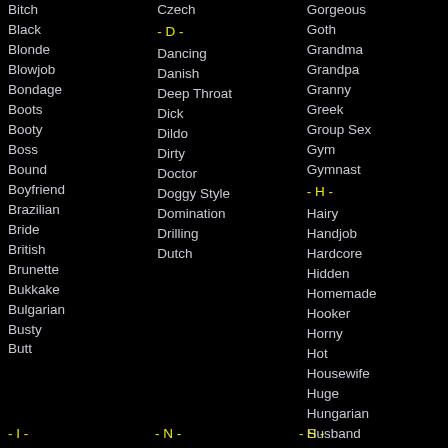Bitch
Black
Blonde
Blowjob
Bondage
Boots
Booty
Boss
Bound
Boyfriend
Brazilian
Bride
British
Brunette
Bukkake
Bulgarian
Busty
Butt
- I -
Czech
- D -
Dancing
Danish
Deep Throat
Dick
Dildo
Dirty
Doctor
Doggy Style
Domination
Drilling
Dutch
- N -
Gorgeous
Goth
Grandma
Grandpa
Granny
Greek
Group Sex
Gym
Gymnast
- H -
Hairy
Handjob
Hardcore
Hidden
Homemade
Hooker
Horny
Hot
Housewife
Huge
Hungarian
Husband
- S -